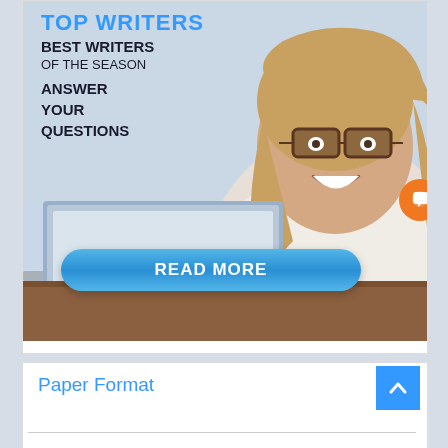[Figure (illustration): Advertisement banner showing a smiling woman with glasses sitting at a laptop. Overlay text reads 'TOP WRITERS', 'BEST WRITERS OF THE SEASON', 'ANSWER YOUR QUESTIONS'. A blue 'READ MORE' button appears at the bottom of the image. An orange circular chat button is visible on the right side.]
Paper Format